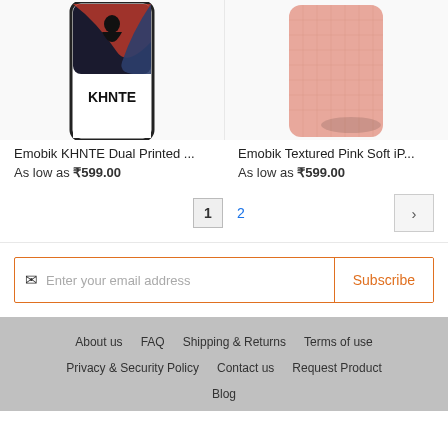[Figure (photo): Product image of Emobik KHNTE Dual Printed phone case with black/white design]
Emobik KHNTE Dual Printed ...
As low as ₹599.00
[Figure (photo): Product image of Emobik Textured Pink Soft iPhone case]
Emobik Textured Pink Soft iP...
As low as ₹599.00
1 2 >
Enter your email address Subscribe
About us  FAQ  Shipping & Returns  Terms of use  Privacy & Security Policy  Contact us  Request Product  Blog